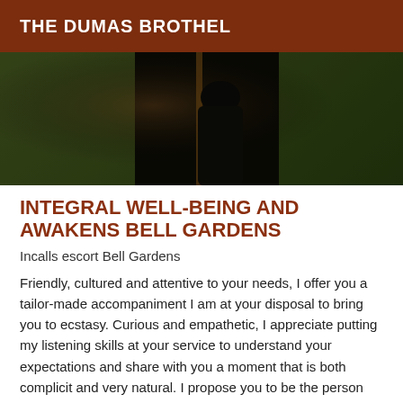THE DUMAS BROTHEL
[Figure (photo): Dark outdoor photo showing a figure in black clothing standing in a grassy area near a wooden post, with green grass in the background and warm/dark lighting tones.]
INTEGRAL WELL-BEING AND AWAKENS BELL GARDENS
Incalls escort Bell Gardens
Friendly, cultured and attentive to your needs, I offer you a tailor-made accompaniment I am at your disposal to bring you to ecstasy. Curious and empathetic, I appreciate putting my listening skills at your service to understand your expectations and share with you a moment that is both complicit and very natural. I propose you to be the person who will know how to meet your expectations with professionalism. I am looking forward